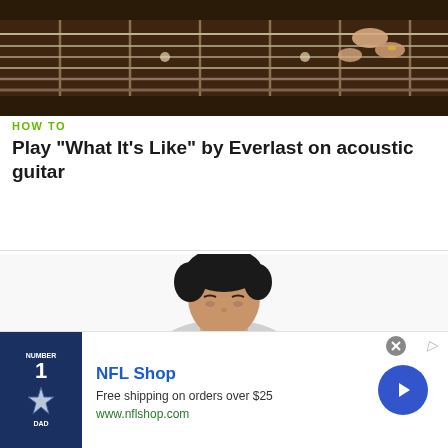[Figure (photo): Close-up photo of hands playing an acoustic guitar fretboard from above]
HOW TO
Play "What It's Like" by Everlast on acoustic guitar
[Figure (photo): Woman with short dark hair wearing a striped shirt playing an electric guitar on a white background]
HOW TO
Play "Yellow" by Coldplay on acoustic guitar
[Figure (other): NFL Shop advertisement banner with Dallas Cowboys jersey image, text: NFL Shop, Free shipping on orders over $25, www.nflshop.com]